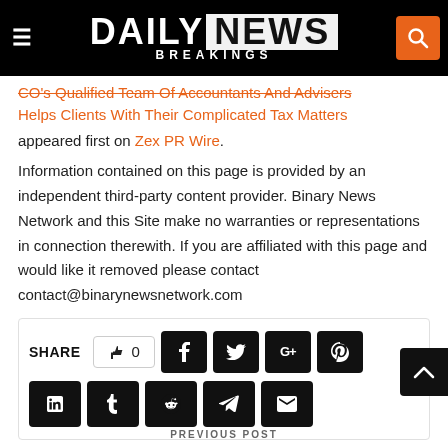Daily Breakings News
CO's Qualified Team Of Accountants And Advisers Helps Clients With Their Complicated Tax Matters
appeared first on Zex PR Wire.
Information contained on this page is provided by an independent third-party content provider. Binary News Network and this Site make no warranties or representations in connection therewith. If you are affiliated with this page and would like it removed please contact contact@binarynewsnetwork.com
SHARE  0  [social share buttons: Facebook, Twitter, Google+, Pinterest, LinkedIn, Tumblr, Reddit, Telegram, Email]
PREVIOUS POST